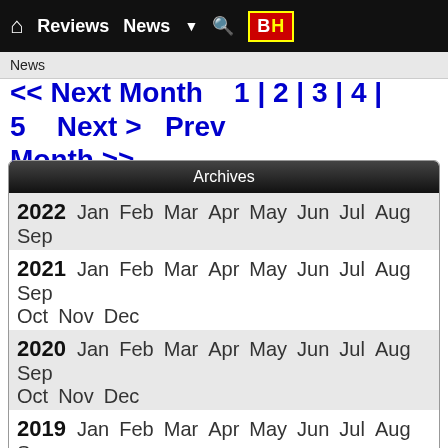Home | Reviews | News | Search | B&H
News
<< Next Month   1 | 2 | 3 | 4 | 5   Next >   Prev Month >>
Archives
| Year | Months |
| --- | --- |
| 2022 | Jan Feb Mar Apr May Jun Jul Aug Sep |
| 2021 | Jan Feb Mar Apr May Jun Jul Aug Sep Oct Nov Dec |
| 2020 | Jan Feb Mar Apr May Jun Jul Aug Sep Oct Nov Dec |
| 2019 | Jan Feb Mar Apr May Jun Jul Aug Sep Oct Nov Dec |
| 2018 | Jan Feb Mar Apr May Jun Jul Aug Sep Oct Nov Dec |
| 2017 | Jan Feb Mar Apr May Jun Jul Aug |